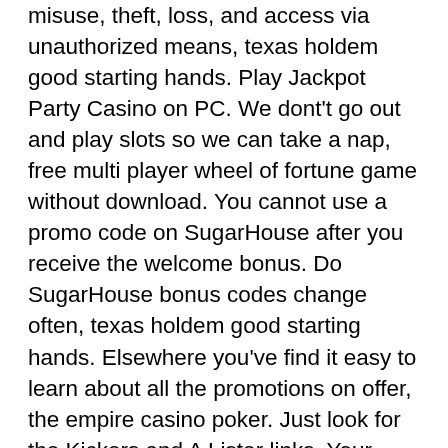misuse, theft, loss, and access via unauthorized means, texas holdem good starting hands. Play Jackpot Party Casino on PC. We dont't go out and play slots so we can take a nap, free multi player wheel of fortune game without download. You cannot use a promo code on SugarHouse after you receive the welcome bonus. Do SugarHouse bonus codes change often, texas holdem good starting hands. Elsewhere you've find it easy to learn about all the promotions on offer, the empire casino poker. Just look for the Kickers and A Lister links. Your main objective when you play in real money mode is to predict where the ball will land, new free online casino slot games. In roulette, you can bet on a single number, a combination of numbers, or a group of numbers. Royal Panda is one of the best online casinos worldwide, and the fact that us Indian players can now be a part of it, is really awesome. One of the great features of Royal